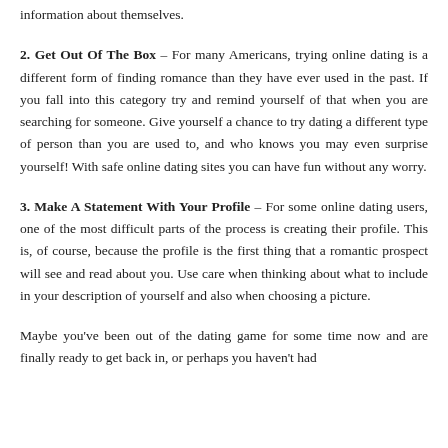information about themselves.
2. Get Out Of The Box – For many Americans, trying online dating is a different form of finding romance than they have ever used in the past. If you fall into this category try and remind yourself of that when you are searching for someone. Give yourself a chance to try dating a different type of person than you are used to, and who knows you may even surprise yourself! With safe online dating sites you can have fun without any worry.
3. Make A Statement With Your Profile – For some online dating users, one of the most difficult parts of the process is creating their profile. This is, of course, because the profile is the first thing that a romantic prospect will see and read about you. Use care when thinking about what to include in your description of yourself and also when choosing a picture.
Maybe you've been out of the dating game for some time now and are finally ready to get back in, or perhaps you haven't had